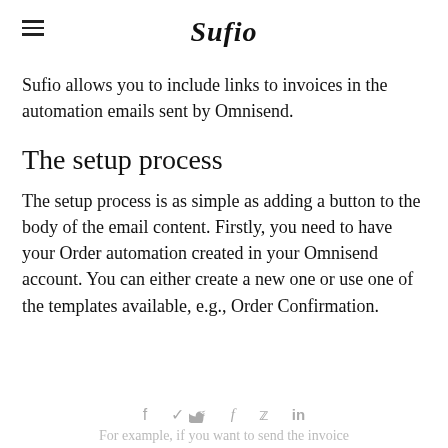Sufio
Sufio allows you to include links to invoices in the automation emails sent by Omnisend.
The setup process
The setup process is as simple as adding a button to the body of the email content. Firstly, you need to have your Order automation created in your Omnisend account. You can either create a new one or use one of the templates available, e.g., Order Confirmation.
For example, if you want to send the invoice